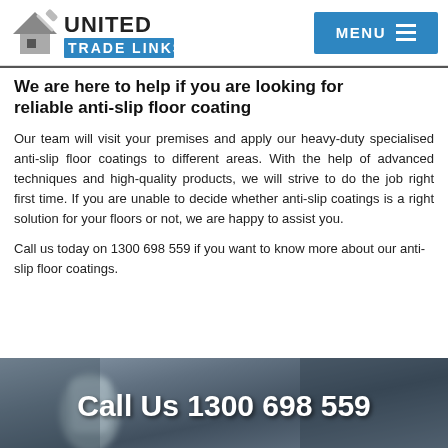United Trade Links — MENU
We are here to help if you are looking for reliable anti-slip floor coating
Our team will visit your premises and apply our heavy-duty specialised anti-slip floor coatings to different areas. With the help of advanced techniques and high-quality products, we will strive to do the job right first time. If you are unable to decide whether anti-slip coatings is a right solution for your floors or not, we are happy to assist you.
Call us today on 1300 698 559 if you want to know more about our anti-slip floor coatings.
[Figure (photo): Dark blurred background photo with a person visible, overlaid with white bold text reading 'Call Us 1300 698 559']